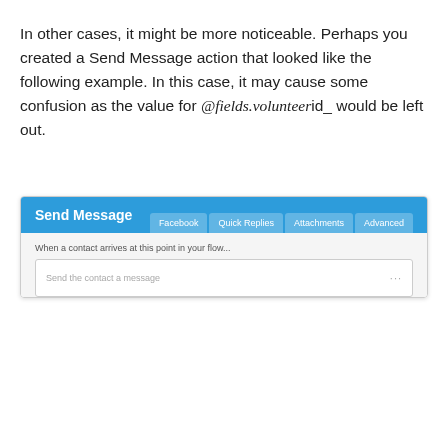In other cases, it might be more noticeable. Perhaps you created a Send Message action that looked like the following example. In this case, it may cause some confusion as the value for @fields.volunteerid_ would be left out.
[Figure (screenshot): Screenshot of a Send Message dialog box with a blue header showing tabs: Facebook, Quick Replies, Attachments, Advanced. Body shows label 'When a contact arrives at this point in your flow...' and an input field with placeholder 'Send the contact a message'.]